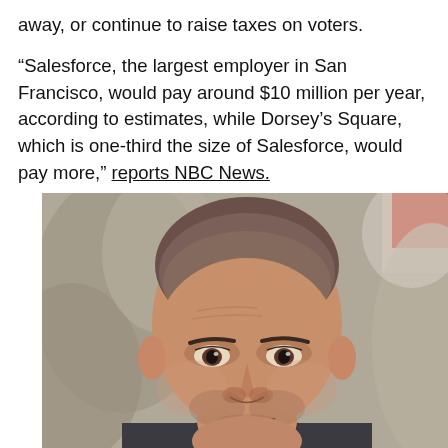away, or continue to raise taxes on voters.
“Salesforce, the largest employer in San Francisco, would pay around $10 million per year, according to estimates, while Dorsey’s Square, which is one-third the size of Salesforce, would pay more,” reports NBC News.
[Figure (photo): Close-up portrait photo of a bald man with stubble, looking slightly to the side with a mild smirk, outdoors with a blurred rocky/concrete background and a hint of red in the upper right.]